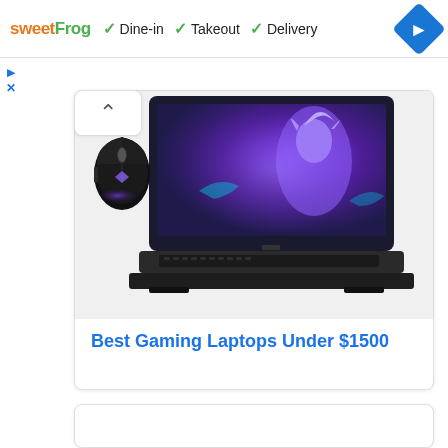[Figure (screenshot): Ad banner with sweetFrog logo, dine-in takeout delivery checkmarks, and navigation diamond icon]
[Figure (photo): Gaming laptop open showing purple fantasy game character on screen, with RGB gaming mouse beside it]
Best Gaming Laptops Under $1500
[Figure (screenshot): Second content card area, mostly blank white]